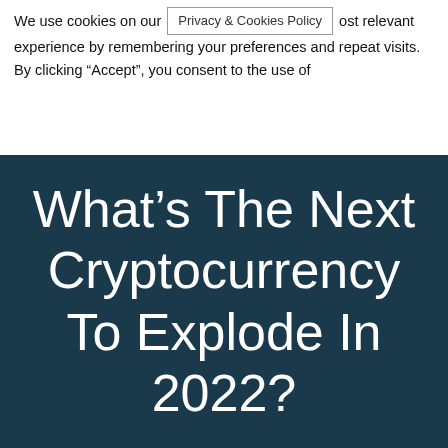We use cookies on our [Privacy & Cookies Policy] ost relevant experience by remembering your preferences and repeat visits. By clicking “Accept”, you consent to the use of
What’s The Next Cryptocurrency To Explode In 2022?